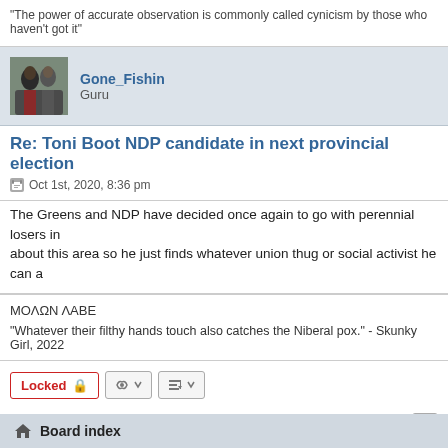"The power of accurate observation is commonly called cynicism by those who haven't got it"
Gone_Fishin
Guru
Re: Toni Boot NDP candidate in next provincial election
Oct 1st, 2020, 8:36 pm
The Greens and NDP have decided once again to go with perennial losers in
about this area so he just finds whatever union thug or social activist he can a
ΜΟΛΩΝ ΛΑΒΕ
"Whatever their filthy hands touch also catches the Niberal pox." - Skunky Girl, 2022
BB posts
Board index